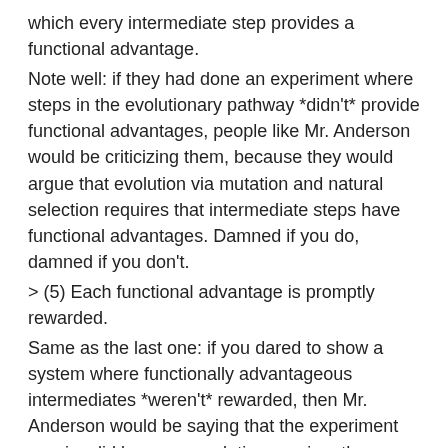which every intermediate step provides a functional advantage.
Note well: if they had done an experiment where steps in the evolutionary pathway *didn't* provide functional advantages, people like Mr. Anderson would be criticizing them, because they would argue that evolution via mutation and natural selection requires that intermediate steps have functional advantages. Damned if you do, damned if you don't.
> (5) Each functional advantage is promptly rewarded.
Same as the last one: if you dared to show a system where functionally advantageous intermediates *weren't* rewarded, then Mr. Anderson would be saying that the experiment was invalid because evolution requires the immediate reward.
In fact, just a little bit later in the paper, Mr. Anderson makes *exactly* this argument:
>However, what this piece of data in fact demonstrates, is that even if there is
>a guaranteed step-by-step pathway to complex function, unless each step, or at